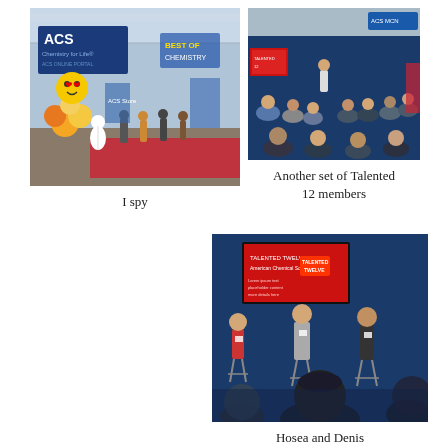[Figure (photo): Convention hall floor with ACS branding, balloons including smiley face balloon, people standing around]
I spy
[Figure (photo): Group of people seated in a circle or arc, panel discussion event, blue backdrop, red display screen]
Another set of Talented 12 members
[Figure (photo): Panel discussion with three people seated on stools in front of a red Talented Twelve screen on the wall, audience seated in foreground]
Hosea and Denis